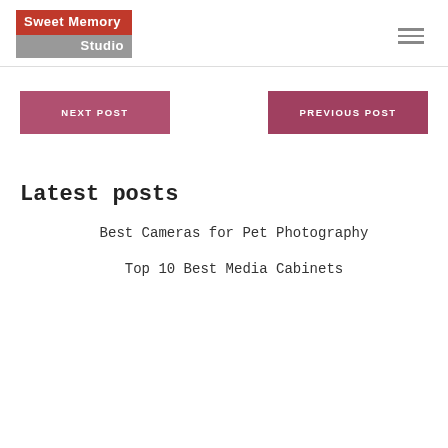[Figure (logo): Sweet Memory Studio logo with red top block and grey bottom block]
NEXT POST
PREVIOUS POST
Latest posts
Best Cameras for Pet Photography
Top 10 Best Media Cabinets